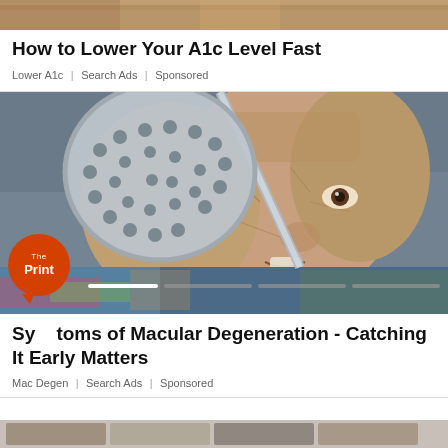[Figure (photo): Partial top image showing a brown/tan textured surface, cropped at top of page]
How to Lower Your A1c Level Fast
Lower A1c | Search Ads | Sponsored
[Figure (photo): Elderly woman holding a slotted spoon/skimmer over her left eye, looking directly at camera, wearing a colorful fleece jacket. The Print logo overlay at bottom left.]
Symptoms of Macular Degeneration - Catching It Early Matters
Mac Degen | Search Ads | Sponsored
[Figure (photo): Bottom strip showing thumbnail images, partially visible]